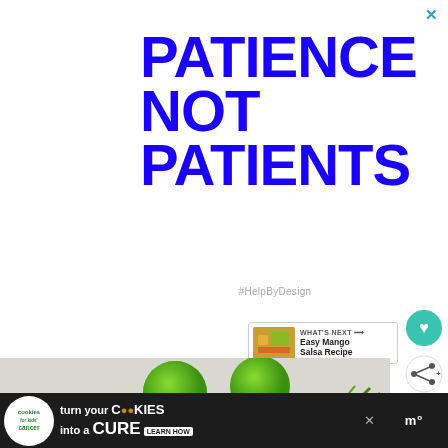[Figure (infographic): Bold blue text on white background reading PATIENCE NOT PATIENTS with hashtag #HelpByDesign below]
#HelpByDesign
[Figure (infographic): Heart/like button and share button on right side]
[Figure (infographic): WHAT'S NEXT arrow with thumbnail and text: Easy Mango Salsa Recipe]
[Figure (photo): Food photo showing green limes and vegetables on a light surface]
[Figure (infographic): Bottom advertisement banner: Cookies for Kids Cancer - turn your COOKIES into a CURE LEARN HOW with Merriam-Webster logo on right]
turn your COOKIES into a CURE LEARN HOW